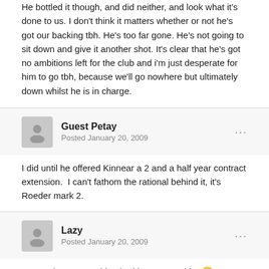He bottled it though, and did neither, and look what it's done to us. I don't think it matters whether or not he's got our backing tbh. He's too far gone. He's not going to sit down and give it another shot. It's clear that he's got no ambitions left for the club and i'm just desperate for him to go tbh, because we'll go nowhere but ultimately down whilst he is in charge.
Guest Petay
Posted January 20, 2009
I did until he offered Kinnear a 2 and a half year contract extension.  I can't fathom the rational behind it, it's Roeder mark 2.
Lazy
Posted January 20, 2009
Nope, I hope something bad happens to him 😬